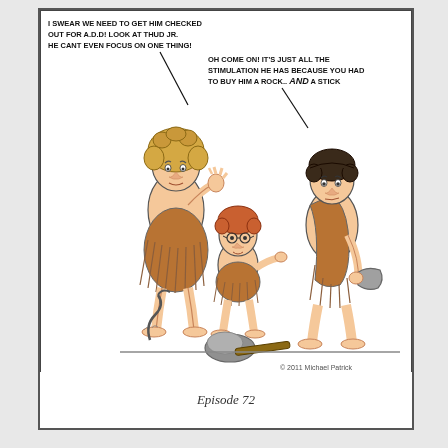[Figure (illustration): A comic strip showing three prehistoric caveman characters — a female adult on the left with frizzy hair wearing a fur skirt, a small child in the middle with reddish hair wearing glasses and fur, and a male adult on the right with dark hair wearing a fur wrap and holding a stick/rock. A rock and stick are on the ground. Speech bubbles read: 'I SWEAR WE NEED TO GET HIM CHECKED OUT FOR A.D.D! LOOK AT THUD JR. HE CANT EVEN FOCUS ON ONE THING!' and 'OH COME ON! IT'S JUST ALL THE STIMULATION HE HAS BECAUSE YOU HAD TO BUY HIM A ROCK... AND A STICK'. Copyright 2011 Michael Patrick.]
Episode 72